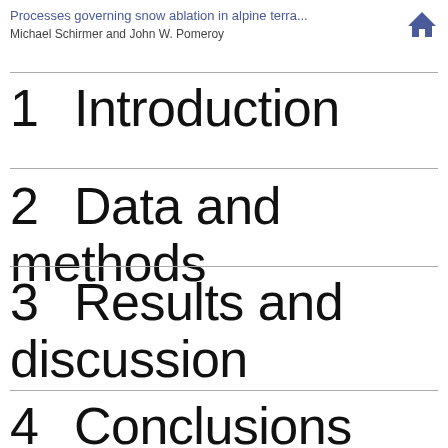Processes governing snow ablation in alpine terra...
Michael Schirmer and John W. Pomeroy
1  Introduction
2  Data and methods
3  Results and discussion
4  Conclusions and